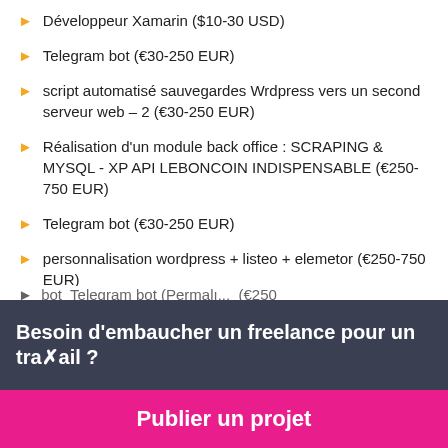Développeur Xamarin ($10-30 USD)
Telegram bot (€30-250 EUR)
script automatisé sauvegardes Wrdpress vers un second serveur web – 2 (€30-250 EUR)
Réalisation d'un module back office : SCRAPING & MYSQL - XP API LEBONCOIN INDISPENSABLE (€250-750 EUR)
Telegram bot (€30-250 EUR)
personnalisation wordpress + listeo + elemetor (€250-750 EUR)
Besoin d'embaucher un freelance pour un travail ?
Publier un projet